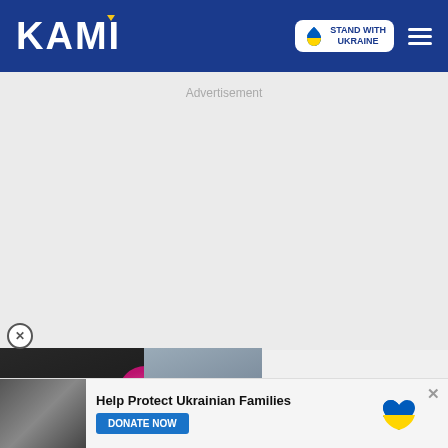KAMI — STAND WITH UKRAINE
Advertisement
[Figure (screenshot): Video widget showing two women, one with red lipstick on left and one in denim jacket on right, pink graphic in center, with text overlay: I WAS BROUGHT OUT AND STONED]
Help Protect Ukrainian Families
DONATE NOW